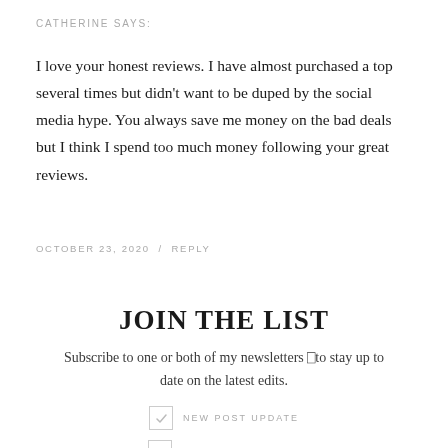CATHERINE SAYS:
I love your honest reviews. I have almost purchased a top several times but didn't want to be duped by the social media hype. You always save me money on the bad deals but I think I spend too much money following your great reviews.
OCTOBER 23, 2020  /  REPLY
JOIN THE LIST
Subscribe to one or both of my newsletters ⬜to stay up to date on the latest edits.
NEW POST UPDATE
WORKDAY READING